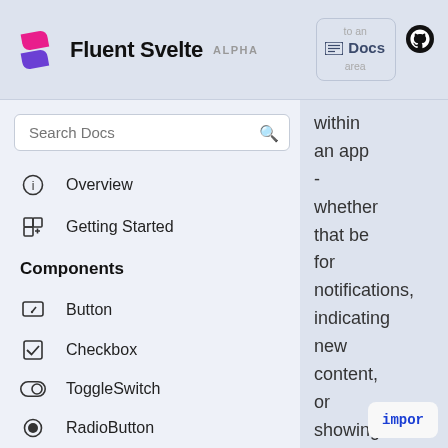Fluent Svelte ALPHA
Overview
Getting Started
Components
Button
Checkbox
ToggleSwitch
RadioButton
TextBox
Slider
to an Docs area within an app - whether that be for notifications, indicating new content, or showing an alert.
impor